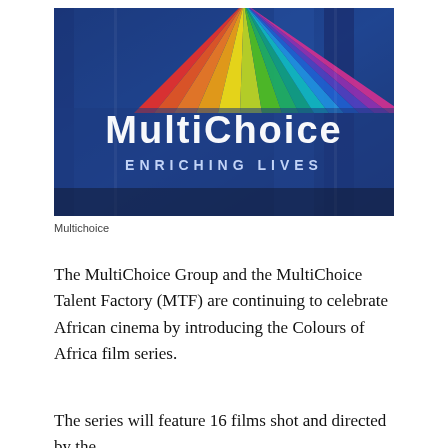[Figure (photo): Photo of a MultiChoice building sign reading 'MultiChoice Enriching Lives' with a colorful fan/sunburst logo above the text on a blue glass building facade]
Multichoice
The MultiChoice Group and the MultiChoice Talent Factory (MTF) are continuing to celebrate African cinema by introducing the Colours of Africa film series.
The series will feature 16 films shot and directed by the